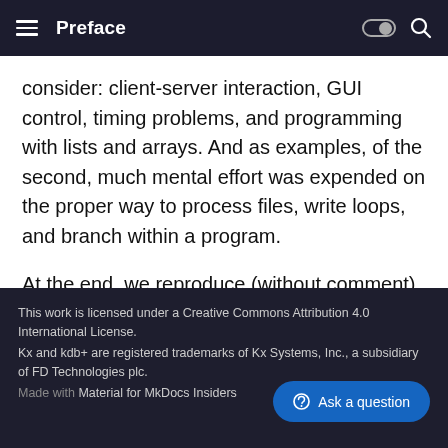Preface
consider: client-server interaction, GUI control, timing problems, and programming with lists and arrays. And as examples, of the second, much mental effort was expended on the proper way to process files, write loops, and branch within a program.
At the end, we reproduce (without comment) the complete set of style rules from Kernighan & Plauger. A later version may summarize whatever rules survive winnowing by the programming community.
This work is licensed under a Creative Commons Attribution 4.0 International License.
Kx and kdb+ are registered trademarks of Kx Systems, Inc., a subsidiary of FD Technologies plc.
Made with Material for MkDocs Insiders